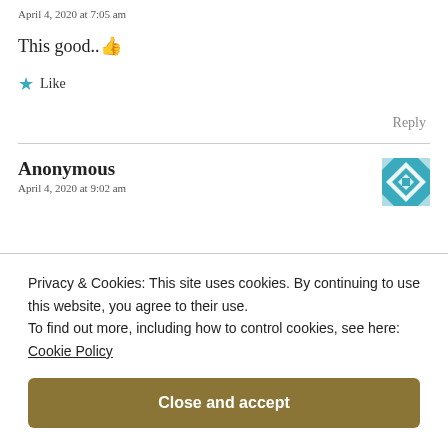April 4, 2020 at 7:05 am
This good.. 👍
★ Like
Reply
Anonymous
April 4, 2020 at 9:02 am
Privacy & Cookies: This site uses cookies. By continuing to use this website, you agree to their use.
To find out more, including how to control cookies, see here:
Cookie Policy
Close and accept